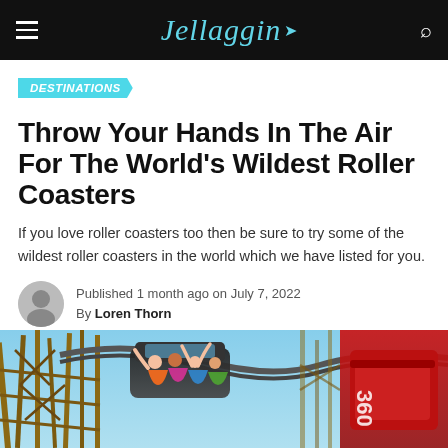Jellaggin
DESTINATIONS
Throw Your Hands In The Air For The World's Wildest Roller Coasters
If you love roller coasters too then be sure to try some of the wildest roller coasters in the world which we have listed for you.
Published 1 month ago on July 7, 2022
By Loren Thorn
[Figure (photo): People riding a wooden roller coaster with hands up, bright blue sky background, red roller coaster car visible on right side with '360' text]